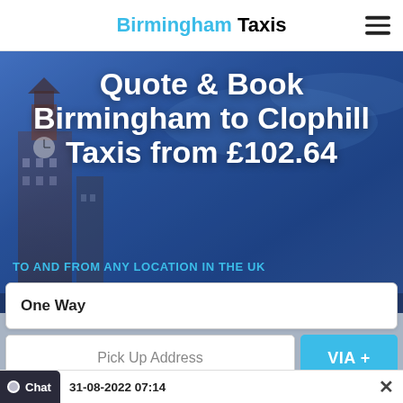Birmingham Taxis
[Figure (screenshot): Hero banner showing Birmingham cityscape with clock tower building against blue sky gradient background]
Quote & Book Birmingham to Clophill Taxis from £102.64
TO AND FROM ANY LOCATION IN THE UK
One Way
Pick Up Address
VIA +
Drop Off Address
Chat
31-08-2022 07:14